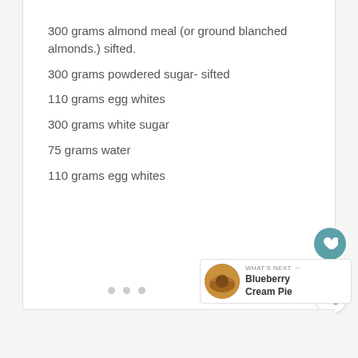300 grams almond meal (or ground blanched almonds.) sifted.
300 grams powdered sugar- sifted
110 grams egg whites
300 grams white sugar
75 grams water
110 grams egg whites
[Figure (other): Heart favorite button (teal circle with heart icon), count label '1', and share button (circle with share icon)]
[Figure (other): What's Next card showing a pie image thumbnail and text 'Blueberry Cream Pie' with arrow]
[Figure (other): Three pagination dots]